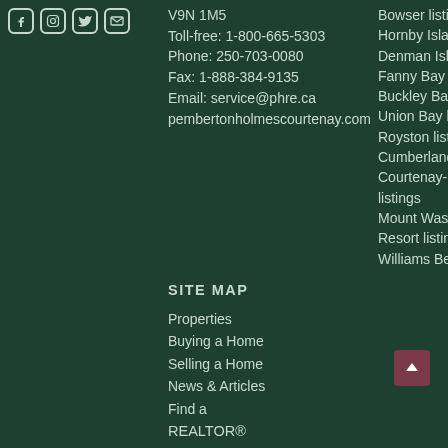[Figure (other): Social media icons: Facebook, Instagram, Twitter, Email]
V9N 1M5
Toll-free: 1-800-665-5303
Phone: 250-703-0080
Fax: 1-888-384-9135
Email: service@phre.ca
pembertonholmescourtenay.com
Bowser listings
Hornby Island listings
Denman Island listings
Fanny Bay listings
Buckley Bay listings
Union Bay listings
Royston listings
Cumberland listings
Courtenay-Comox listings
Mount Washington Resort listings
Williams Beach
SITE MAP
Properties
Buying a Home
Selling a Home
News & Articles
Find a REALTOR®